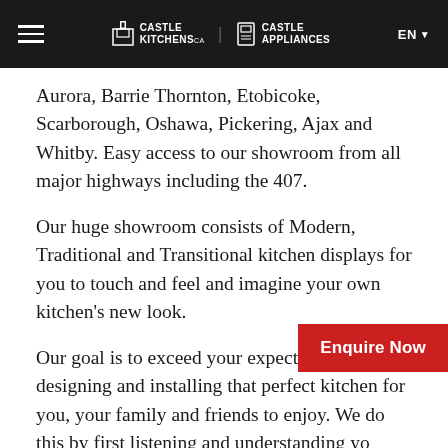Castle Kitchens | Castle Appliances | EN
Aurora, Barrie Thornton, Etobicoke, Scarborough, Oshawa, Pickering, Ajax and Whitby. Easy access to our showroom from all major highways including the 407.
Our huge showroom consists of Modern, Traditional and Transitional kitchen displays for you to touch and feel and imagine your own kitchen’s new look.
Our goal is to exceed your expectations by designing and installing that perfect kitchen for you, your family and friends to enjoy. We do this by first listening and understanding your design needs and then transform your ideas to a unique and beautiful kitchen.
If you are redesigning, renovating your Kitchen or